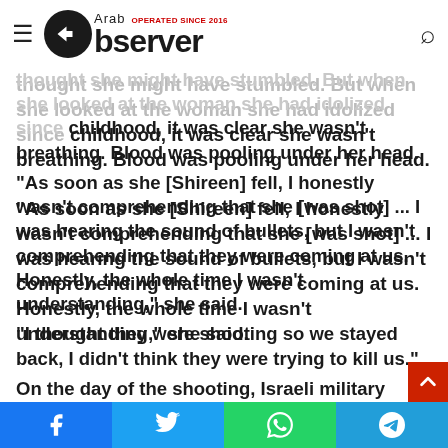Arab Observer — Operated since 2016
thought she might have stumbled. But when she looked at the woman she had idolized since childhood, it was clear she wasn't breathing. Blood was pooling under her head.
“As soon as she [Shireen] fell, I honestly wasn’t comprehending that she [was shot] ... I was hearing the sound of bullets, but I wasn’t comprehending that they were coming at us. Honestly, the whole time I wasn’t understanding,” she said.
“I thought they were shooting so we stayed back, I didn’t think they were trying to kill us.”
On the day of the shooting, Israeli military spokesperson Ran Kochav told Army Radio that Abu Akleh had been “filming and working for a media outlet amidst armed Palestinians. They’re armed with cameras, if you’ll permit me to say so,” according to
Facebook | Twitter | WhatsApp | Telegram